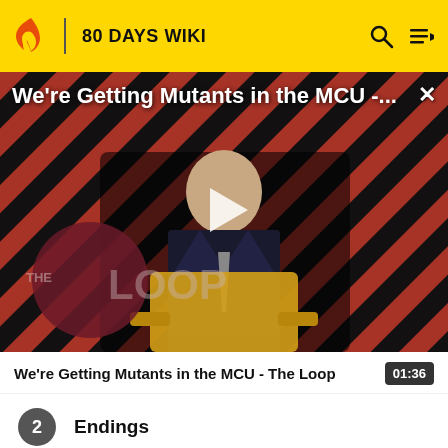80 DAYS WIKI
[Figure (screenshot): Video thumbnail showing a bald man in a suit seated in a yellow chair against a red and black diagonal striped background with 'THE LOOP' branding overlay and a white play button triangle in the center]
We're Getting Mutants in the MCU - ...
We're Getting Mutants in the MCU - The Loop  01:36
2  Endings
3  Passepartout